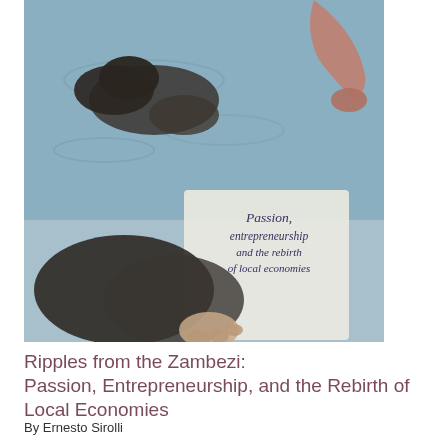[Figure (photo): Book cover photograph showing hands near water with a white panel bearing italic text reading 'Passion, entrepreneurship and the rebirth of local economies']
Ripples from the Zambezi: Passion, Entrepreneurship, and the Rebirth of Local Economies
By Ernesto Sirolli